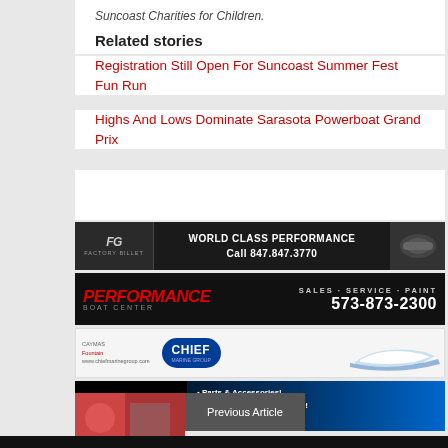Suncoast Charities for Children.
Related stories
Registration Still Open For Suncoast Summer Fest Fun Run
Highs And Lows Dominate Sarasota Powerboat Grand Prix
[Figure (photo): Factory Billet advertisement - WORLD CLASS PERFORMANCE Call 847.847.3770]
[Figure (photo): Performance Boat Center advertisement - SALES - SERVICE - PAINT 573-873-2300]
[Figure (photo): Chief Marine Group advertisement - www.chiefmarinegroup.com]
[Figure (photo): Teague Custom Marine Inc. advertisement - Parts & Accessories! Most orders ship same day! Huge inventory!]
Previous Article